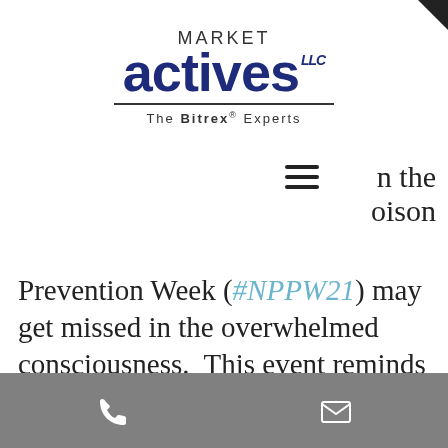[Figure (logo): Market Actives LLC logo with tagline 'The Bitrex Experts']
n theɵison
Prevention Week (#NPPW21) may get missed in the overwhelmed consciousness. This event reminds us it is critical to continue raising awareness of poison prevention worldwide, especially among parents, caregivers including of the elderly and infirm. This is a time to be reminded of the dangers of poisonings for people of all ages. And a time promote community involvement in poisoning
Phone and email contact icons